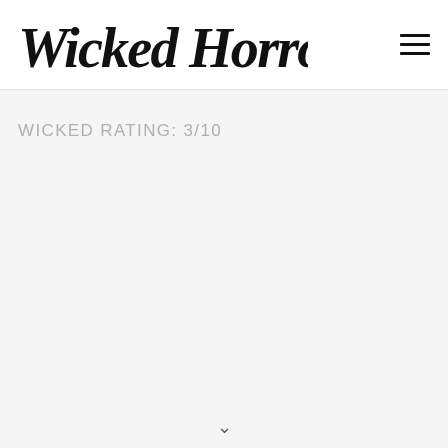Wicked Horror
WICKED RATING: 3/10